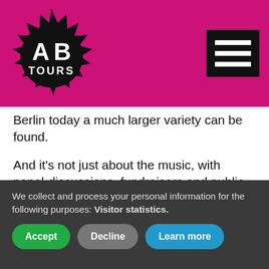AB TOURS
Berlin today a much larger variety can be found.
And it's not just about the music, with panel-discussions, fundraisers and public readings being just as much a part of the ethos of the space. From bingo to karaoke and the oriental queer party 'Gayhane', SO36 is about as diverse as it gets and you'll always be in for a treat!
We collect and process your personal information for the following purposes: Visitor statistics.